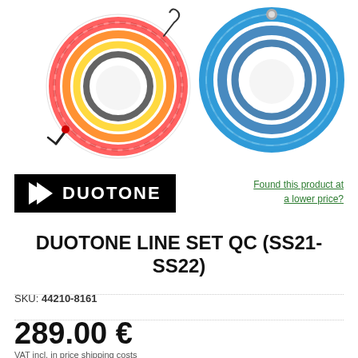[Figure (photo): Product photo showing two coils of kite line sets: a multi-colored coil (red, orange, yellow, black) on the left and a blue single-color coil on the right, on white background.]
[Figure (logo): Duotone brand logo: black rectangle with white arrow chevron and DUOTONE text in white]
Found this product at a lower price?
DUOTONE LINE SET QC (SS21-SS22)
SKU: 44210-8161
289.00 €
VAT incl. in price shipping costs